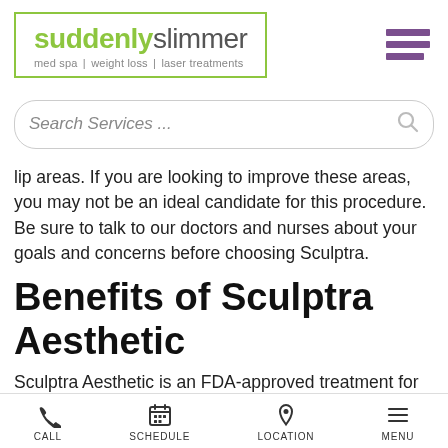suddenly slimmer — med spa | weight loss | laser treatments
Search Services ...
lip areas. If you are looking to improve these areas, you may not be an ideal candidate for this procedure. Be sure to talk to our doctors and nurses about your goals and concerns before choosing Sculptra.
Benefits of Sculptra Aesthetic
Sculptra Aesthetic is an FDA-approved treatment for nasolabial folds and is considered safe and effective
CALL  SCHEDULE  LOCATION  MENU